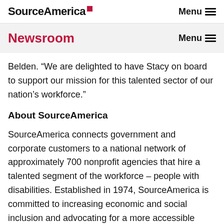SourceAmerica  Menu
Newsroom  Menu
Belden. “We are delighted to have Stacy on board to support our mission for this talented sector of our nation’s workforce.”
About SourceAmerica
SourceAmerica connects government and corporate customers to a national network of approximately 700 nonprofit agencies that hire a talented segment of the workforce – people with disabilities. Established in 1974, SourceAmerica is committed to increasing economic and social inclusion and advocating for a more accessible